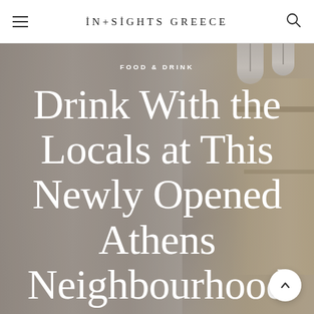IN+SIGHTS GREECE
[Figure (photo): Interior photo of a café or bar with concrete walls, ceiling pendant lamps, and warm-toned building facade on the right. The scene serves as hero background image.]
FOOD & DRINK
Drink With the Locals at This Newly Opened Athens Neighbourhood